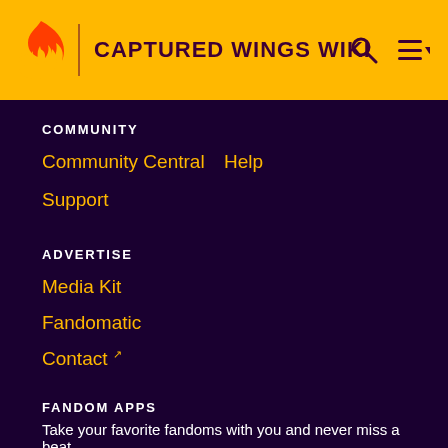CAPTURED WINGS WIKI
COMMUNITY
Community Central
Help
Support
ADVERTISE
Media Kit
Fandomatic
Contact
FANDOM APPS
Take your favorite fandoms with you and never miss a beat.